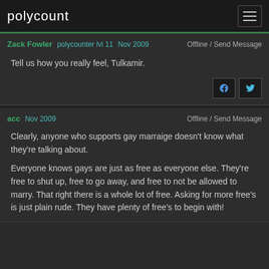polycount
Zack Fowler  polycounter lvl 11  Nov 2009    Offline / Send Message
Tell us how you really feel, Tulkamir.
acc  Nov 2009    Offline / Send Message
Clearly, anyone who supports gay marraige doesn't know what they're talking about.

Everyone knows gays are just as free as everyone else. They're free to shut up, free to go away, and free to not be allowed to marry. That right there is a whole lot of free. Asking for more free's is just plain rude. They have plenty of free's to begin with!